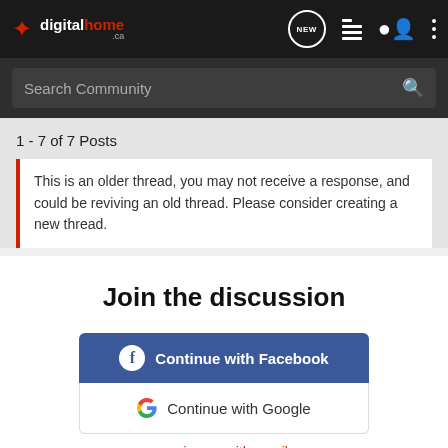digitalhome.ca — navigation header with NEW, list, user, and menu icons
Search Community
1 - 7 of 7 Posts
This is an older thread, you may not receive a response, and could be reviving an old thread. Please consider creating a new thread.
Join the discussion
Continue with Facebook
Continue with Google
or sign up with email